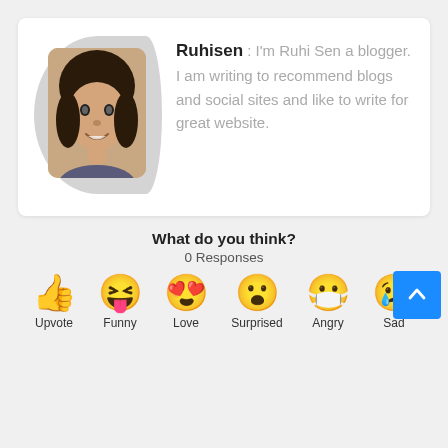[Figure (photo): Profile card with avatar photo of a young woman and text bio for Ruhisen blogger]
Ruhisen : I'm Ruhi Sen a blogger. I am writing to recommend blogs and social sites and like to write for great website.
What do you think?
0 Responses
[Figure (infographic): Emoji reaction buttons: Upvote (thumbs up), Funny (laughing face), Love (heart eyes), Surprised (wow face), Angry (sick/angry face), Sad (crying face)]